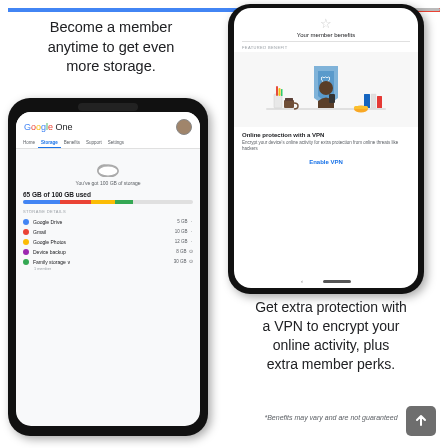[Figure (screenshot): Google One app screenshot showing storage page with 65 GB of 100 GB used, storage details for Google Drive (5 GB), Gmail (10 GB), Google Photos (12 GB), Device backup (8 GB), Family storage (30 GB)]
Become a member anytime to get even more storage.
[Figure (screenshot): Google One app screenshot showing member benefits page with VPN feature, illustration of person with shield, Online protection with a VPN description and Enable VPN button]
Get extra protection with a VPN to encrypt your online activity, plus extra member perks.
*Benefits may vary and are not guaranteed